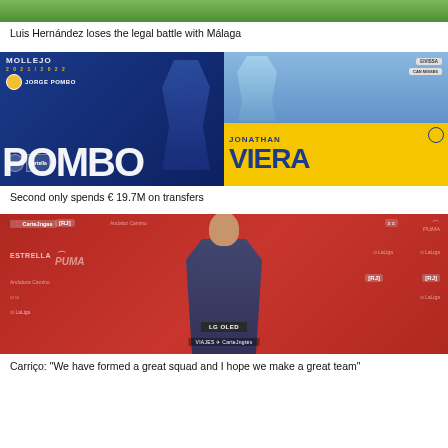[Figure (photo): Top portion of a football/soccer photo showing a green pitch, partially cropped]
Luis Hernández loses the legal battle with Málaga
[Figure (photo): Composite promotional graphic: left side shows Jorge Pombo signing for Real Oviedo 2021/2022 in blue kit celebrating; right side shows Jonathan Viera signing for UD Las Palmas in yellow/blue branding]
Second only spends € 19.7M on transfers
[Figure (photo): Press conference photo: man in dark blue shirt seated at a podium with LG OLED branding and Viajes El Corte Inglés sponsor, red branded backdrop with LaLiga, Estrella, Puma and other logos]
Carriço: "We have formed a great squad and I hope we make a great team"